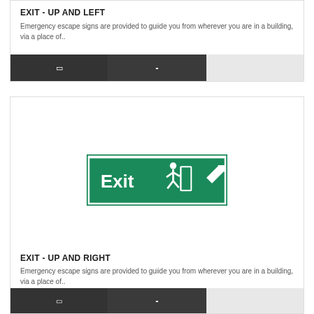EXIT - UP AND LEFT
Emergency escape signs are provided to guide you from wherever you are in a building, via a place of..
[Figure (other): Three buttons row: dark button with bracket icon, dark button with small dot icon, light grey empty button]
[Figure (illustration): Green Exit sign with running man figure and arrow pointing up-right]
EXIT - UP AND RIGHT
Emergency escape signs are provided to guide you from wherever you are in a building, via a place of..
[Figure (other): Two dark buttons partially visible at bottom of page]